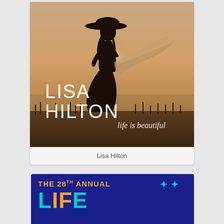[Figure (photo): Album cover for Lisa Hilton 'life is beautiful'. Silhouette of a woman with a wide-brimmed hat and flowing dress in warm sunset tones. Text overlaid: 'LISA HILTON' in large white letters and 'life is beautiful' in smaller white script.]
Lisa Hilton
[Figure (photo): Partial banner for 'THE 28TH ANNUAL' event on a dark blue background with teal and gold large letters partially visible at the bottom.]